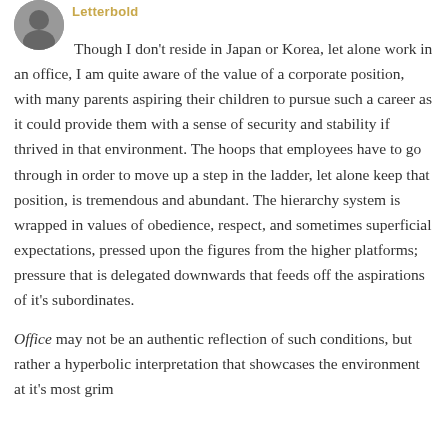[Figure (photo): Circular avatar photo of a user profile picture, partially visible at top left]
Letterbold
Though I don't reside in Japan or Korea, let alone work in an office, I am quite aware of the value of a corporate position, with many parents aspiring their children to pursue such a career as it could provide them with a sense of security and stability if thrived in that environment. The hoops that employees have to go through in order to move up a step in the ladder, let alone keep that position, is tremendous and abundant. The hierarchy system is wrapped in values of obedience, respect, and sometimes superficial expectations, pressed upon the figures from the higher platforms; pressure that is delegated downwards that feeds off the aspirations of it's subordinates.
Office may not be an authentic reflection of such conditions, but rather a hyperbolic interpretation that showcases the environment at it's most grim